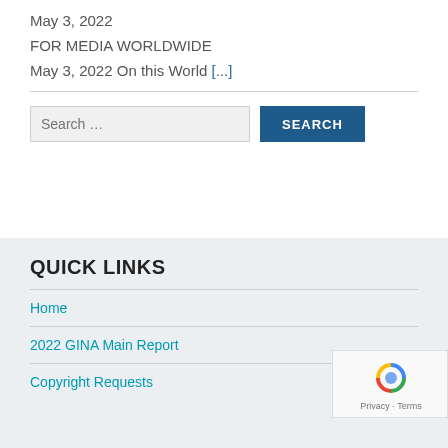May 3, 2022
FOR MEDIA WORLDWIDE
May 3, 2022 On this World [...]
Search …
QUICK LINKS
Home
2022 GINA Main Report
Copyright Requests